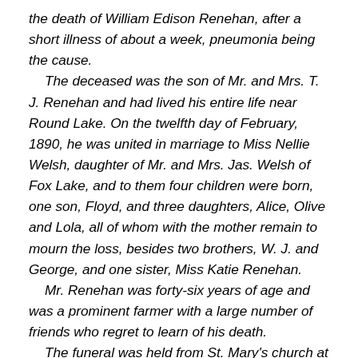the death of William Edison Renehan, after a short illness of about a week, pneumonia being the cause. The deceased was the son of Mr. and Mrs. T. J. Renehan and had lived his entire life near Round Lake. On the twelfth day of February, 1890, he was united in marriage to Miss Nellie Welsh, daughter of Mr. and Mrs. Jas. Welsh of Fox Lake, and to them four children were born, one son, Floyd, and three daughters, Alice, Olive and Lola, all of whom with the mother remain to mourn the loss, besides two brothers, W. J. and George, and one sister, Miss Katie Renehan. Mr. Renehan was forty-six years of age and was a prominent farmer with a large number of friends who regret to learn of his death. The funeral was held from St. Mary's church at Fox Lake Wednesday at 10 o'clock with Rev. Father Lynch officiating and a choir from Waukegan furnishing the music. In spite of the unfavorable weather and bad